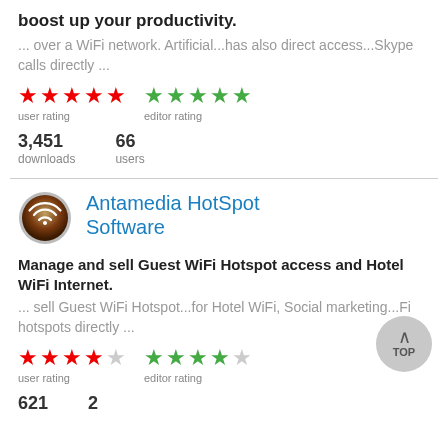boost up your productivity.
... over a WiFi network. Artificial...has also direct access...Skype calls directly ...
[Figure (other): Red 5-star user rating and green 5-star editor rating]
3,451 downloads   66 users
[Figure (logo): Antamedia HotSpot Software app icon - brown/copper circular WiFi icon]
Antamedia HotSpot Software
Manage and sell Guest WiFi Hotspot access and Hotel WiFi Internet.
... sell Guest WiFi Hotspot...for Hotel WiFi, Social marketing...Fi hotspots directly ...
[Figure (other): Red 4-star (1 empty) user rating and green 4-star (1 empty) editor rating]
621   2